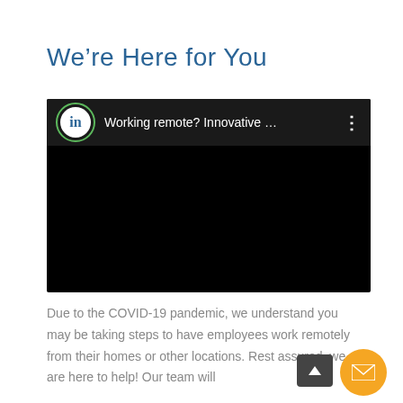We’re Here for You
[Figure (screenshot): A video player screenshot showing a LinkedIn-branded video titled 'Working remote? Innovative ...' with a black background and a three-dot menu icon in the top right.]
Due to the COVID-19 pandemic, we understand you may be taking steps to have employees work remotely from their homes or other locations. Rest assured, we are here to help! Our team will